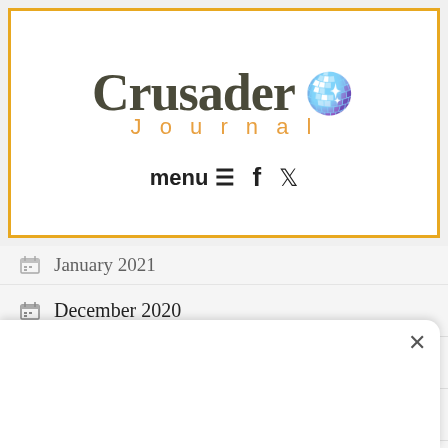[Figure (logo): Crusader Journal logo with globe/disco ball icon, orange border header box with menu, Facebook, and Twitter icons]
January 2021
December 2020
November 2020
October 2020
September 2020